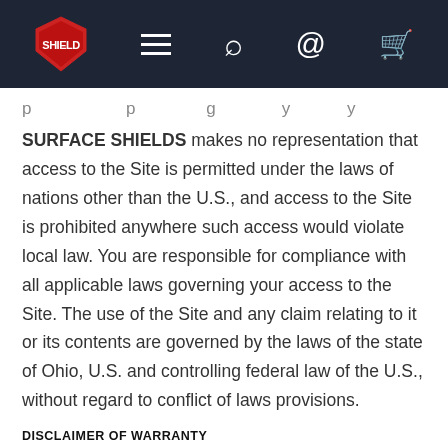[Navigation bar with logo, menu, search, contact, and cart icons]
SURFACE SHIELDS makes no representation that access to the Site is permitted under the laws of nations other than the U.S., and access to the Site is prohibited anywhere such access would violate local law. You are responsible for compliance with all applicable laws governing your access to the Site. The use of the Site and any claim relating to it or its contents are governed by the laws of the state of Ohio, U.S. and controlling federal law of the U.S., without regard to conflict of laws provisions.
DISCLAIMER OF WARRANTY
The information contained on the Site may contain technical inaccuracies or typographical errors. Both the Site and the products and services described on the Site